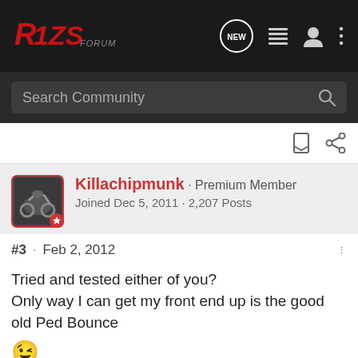R1ZS Forum — Navigation bar with logo, NEW chat, list, user, menu icons
Search Community
Killachipmunk · Premium Member
Joined Dec 5, 2011 · 2,207 Posts
#3 · Feb 2, 2012
Tried and tested either of you?
Only way I can get my front end up is the good old Ped Bounce 😉
Not dead and gone just yet!
Now MX. Fin' til I can get another bike...